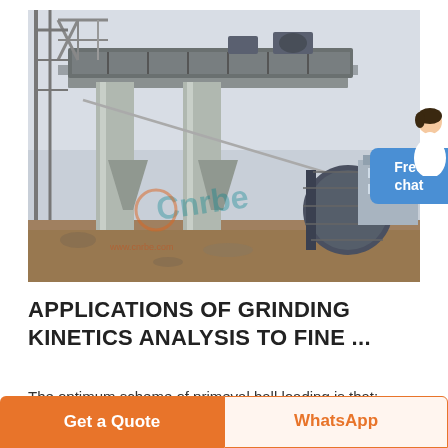[Figure (photo): Industrial grinding/milling plant construction site with large concrete columns, elevated conveyor or processing structure, and heavy machinery including a large cylindrical mill. Construction site with dirt ground and steel framework visible.]
APPLICATIONS OF GRINDING KINETICS ANALYSIS TO FINE ...
The optimum scheme of primeval ball loading is that: